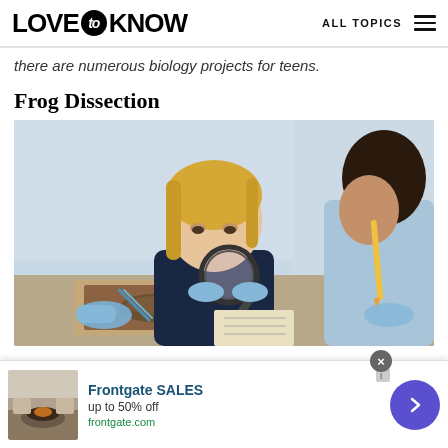LOVE to KNOW   ALL TOPICS
there are numerous biology projects for teens.
Frog Dissection
[Figure (photo): A teenage girl in a dark polo shirt and blue latex gloves uses a magnifying glass to examine a frog dissection on a tray. Another student in a light blue shirt holds a pencil and also wears blue gloves. Science classroom setting.]
[Figure (photo): Advertisement thumbnail showing outdoor furniture with a fire pit from Frontgate.]
Frontgate SALES
up to 50% off
frontgate.com